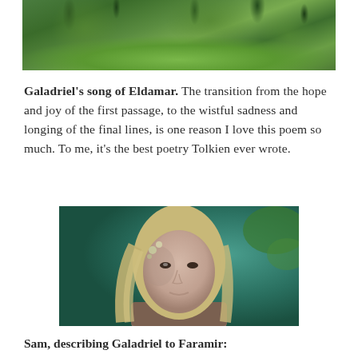[Figure (photo): Photograph of a lush green forest scene with trees, ferns, and mossy ground, partially cropped at top.]
Galadriel's song of Eldamar. The transition from the hope and joy of the first passage, to the wistful sadness and longing of the final lines, is one reason I love this poem so much. To me, it's the best poetry Tolkien ever wrote.
[Figure (photo): Portrait photograph of actress Cate Blanchett as Galadriel, a blond elf woman with pale skin and a serene expression, against a blurred teal/green background.]
Sam, describing Galadriel to Faramir: